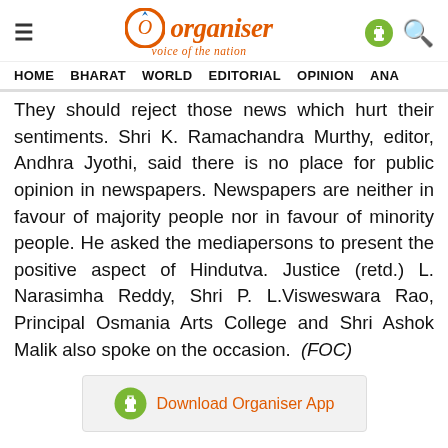Organiser — voice of the nation | HOME  BHARAT  WORLD  EDITORIAL  OPINION  ANA
They should reject those news which hurt their sentiments. Shri K. Ramachandra Murthy, editor, Andhra Jyothi, said there is no place for public opinion in newspapers. Newspapers are neither in favour of majority people nor in favour of minority people. He asked the mediapersons to present the positive aspect of Hindutva. Justice (retd.) L. Narasimha Reddy, Shri P. L.Visweswara Rao, Principal Osmania Arts College and Shri Ashok Malik also spoke on the occasion.  (FOC)
[Figure (other): Download Organiser App banner with Android logo]